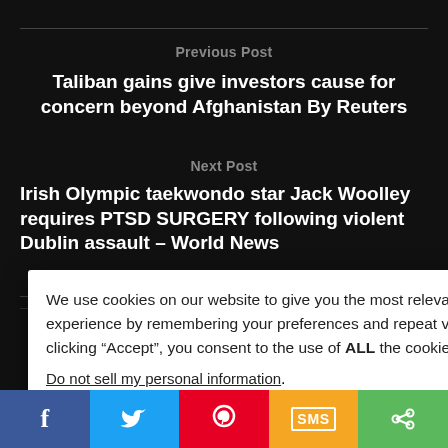Previous Post
Taliban gains give investors cause for concern beyond Afghanistan By Reuters
Next Post
Irish Olympic taekwondo star Jack Woolley requires PTSD SURGERY following violent Dublin assault – World News
We use cookies on our website to give you the most relevant experience by remembering your preferences and repeat visits. By clicking “Accept”, you consent to the use of ALL the cookies.
Do not sell my personal information.
d fields are marked